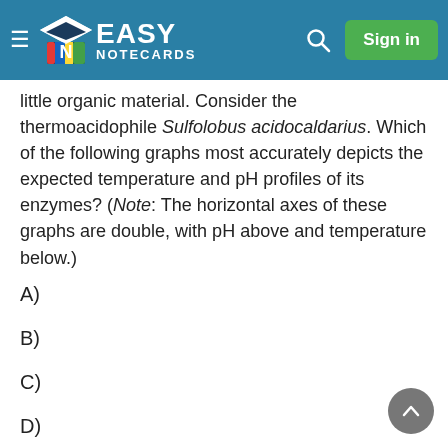Easy Notecards — Sign in
little organic material. Consider the thermoacidophile Sulfolobus acidocaldarius. Which of the following graphs most accurately depicts the expected temperature and pH profiles of its enzymes? (Note: The horizontal axes of these graphs are double, with pH above and temperature below.)
A)
B)
C)
D)